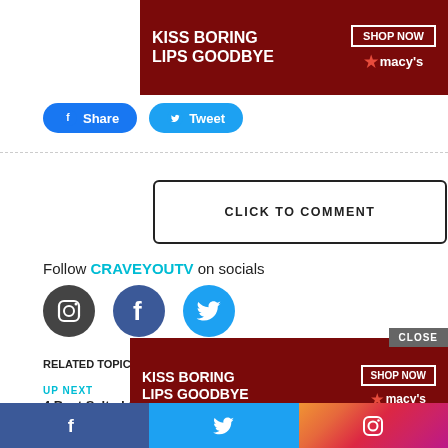[Figure (screenshot): Macy's advertisement banner: KISS BORING LIPS GOODBYE with SHOP NOW button and Macy's logo, dark red background with woman's lips photo]
[Figure (screenshot): Social share buttons: Facebook Share (blue) and Twitter Tweet (light blue)]
[Figure (screenshot): CLICK TO COMMENT button with black border]
Follow CRAVEYOUTV on socials
[Figure (screenshot): Social media icons: Instagram (dark grey circle), Facebook (blue circle), Twitter (cyan circle)]
RELATED TOPICS: #TV REVIEWS #THE CW #DYNASTY
UP NEXT
4 Best Salted Caramel Cocktails to Try this... Includ
DON'T MISS
[Figure (screenshot): Macy's advertisement overlay: KISS BORING LIPS GOODBYE with SHOP NOW and Macy's logo, with CLOSE button]
[Figure (screenshot): Bottom social bar with Facebook, Twitter, and Instagram icons]